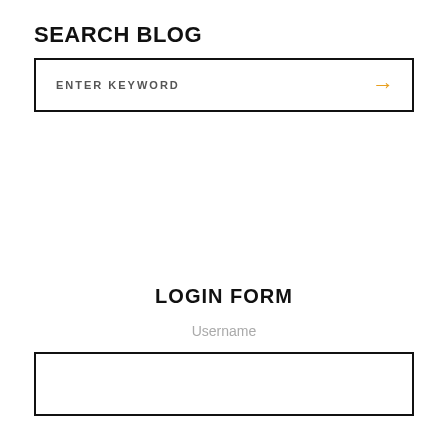SEARCH BLOG
[Figure (other): Search input box with placeholder text 'ENTER KEYWORD' and an orange arrow icon on the right]
LOGIN FORM
Username
[Figure (other): Empty username input text field box]